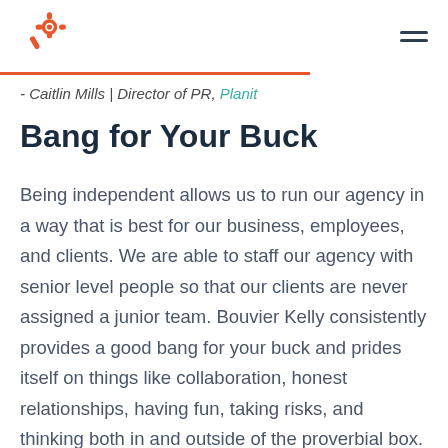[Figure (logo): HubSpot sprocket logo in orange/red color]
- Caitlin Mills | Director of PR, Planit
Bang for Your Buck
Being independent allows us to run our agency in a way that is best for our business, employees, and clients. We are able to staff our agency with senior level people so that our clients are never assigned a junior team. Bouvier Kelly consistently provides a good bang for your buck and prides itself on things like collaboration, honest relationships, having fun, taking risks, and thinking both in and outside of the proverbial box. Being independent allows us to choose clients that have the same values and philosophies we do. It's the best way we know how to